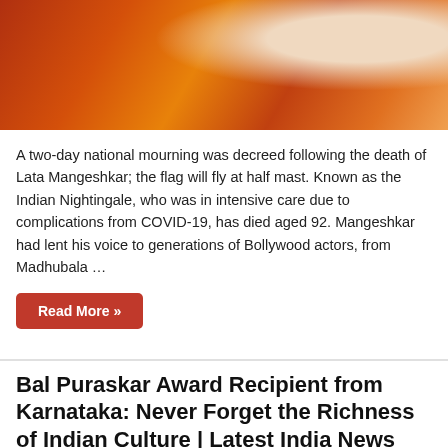[Figure (photo): Close-up photo of a person wearing a red and gold embroidered garment, partially visible]
A two-day national mourning was decreed following the death of Lata Mangeshkar; the flag will fly at half mast. Known as the Indian Nightingale, who was in intensive care due to complications from COVID-19, has died aged 92. Mangeshkar had lent his voice to generations of Bollywood actors, from Madhubala …
Read More »
Bal Puraskar Award Recipient from Karnataka: Never Forget the Richness of Indian Culture | Latest India News
February 1, 2022   Indian culture   Comments Off
[Figure (photo): Photo of a performer doing a fire dance act on a dark stage, with flames visible]